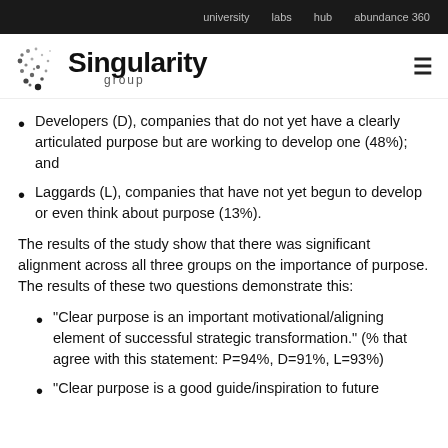university   labs   hub   abundance 360
[Figure (logo): Singularity Group logo with dot-pattern graphic and text]
Developers (D), companies that do not yet have a clearly articulated purpose but are working to develop one (48%); and
Laggards (L), companies that have not yet begun to develop or even think about purpose (13%).
The results of the study show that there was significant alignment across all three groups on the importance of purpose. The results of these two questions demonstrate this:
“Clear purpose is an important motivational/aligning element of successful strategic transformation.” (% that agree with this statement: P=94%, D=91%, L=93%)
“Clear purpose is a good guide/inspiration to future